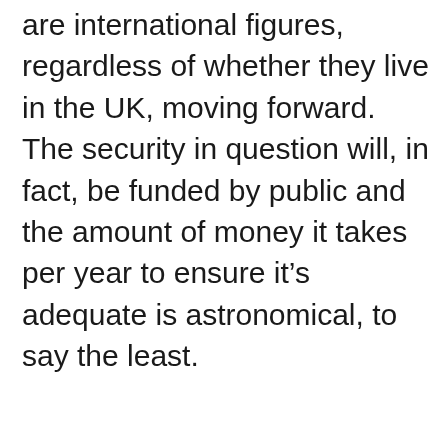are international figures, regardless of whether they live in the UK, moving forward. The security in question will, in fact, be funded by public and the amount of money it takes per year to ensure it's adequate is astronomical, to say the least.